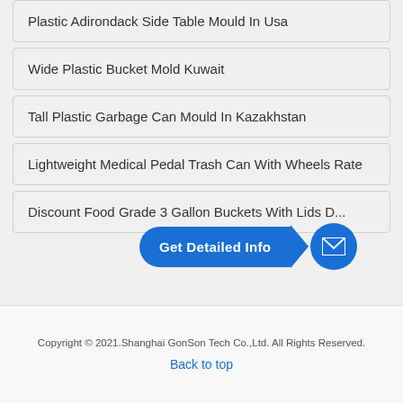Plastic Adirondack Side Table Mould In Usa
Wide Plastic Bucket Mold Kuwait
Tall Plastic Garbage Can Mould In Kazakhstan
Lightweight Medical Pedal Trash Can With Wheels Rate
Discount Food Grade 3 Gallon Buckets With Lids D...
[Figure (infographic): Blue 'Get Detailed Info' button with arrow pointing to a blue circle containing an envelope/mail icon]
Copyright © 2021.Shanghai GonSon Tech Co.,Ltd. All Rights Reserved.
Back to top